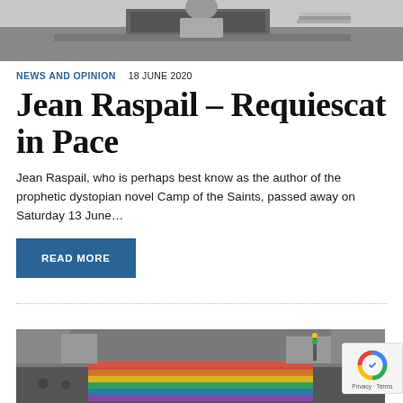[Figure (photo): Black and white photo of a person at a desk with papers and files in the background]
NEWS AND OPINION   18 JUNE 2020
Jean Raspail – Requiescat in Pace
Jean Raspail, who is perhaps best know as the author of the prophetic dystopian novel Camp of the Saints, passed away on Saturday 13 June...
[Figure (photo): Color photo of a pride parade with rainbow flag on a city street]